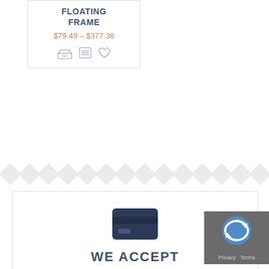FLOATING FRAME
$79.49 – $377.38
[Figure (illustration): Three icon buttons: inbox/tray icon, list/menu icon, heart/wishlist icon]
[Figure (illustration): Row of repeating rotated diamond shapes as a decorative divider]
[Figure (illustration): Credit card icon (dark navy rectangle with stripe)]
WE ACCEPT
[Figure (illustration): reCAPTCHA badge overlay with Privacy and Terms links]